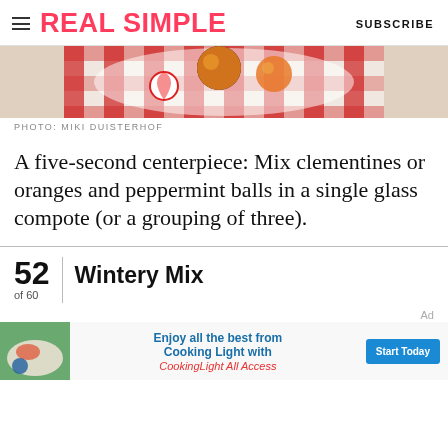REAL SIMPLE  SUBSCRIBE
[Figure (photo): Partial photo of clementines/oranges and peppermint balls on a striped plate from above, cropped at top]
PHOTO: MIKI DUISTERHOF
A five-second centerpiece: Mix clementines or oranges and peppermint balls in a single glass compote (or a grouping of three).
52 of 60  |  Wintery Mix
[Figure (infographic): Ad banner for Cooking Light All Access: thumbnail of food plate on left, center text 'Enjoy all the best from Cooking Light with CookingLight All Access', blue Start Today button on right]